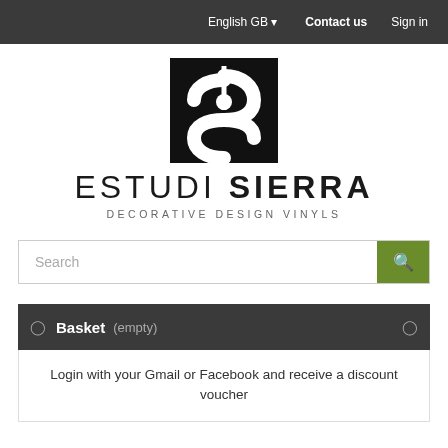English GB  Contact us  Sign in
[Figure (logo): Estudi Sierra logo: black square with stylized white S shape and vertical line]
ESTUDI SIERRA
DECORATIVE DESIGN VINYLS
Search
Basket (empty)
Login with your Gmail or Facebook and receive a discount voucher